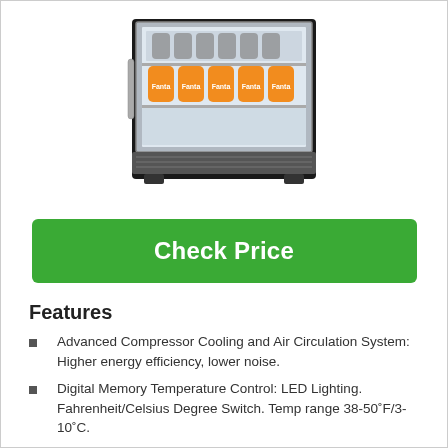[Figure (photo): Beverage refrigerator with glass door showing Fanta cans on shelves, stainless steel trim]
Check Price
Features
Advanced Compressor Cooling and Air Circulation System: Higher energy efficiency, lower noise.
Digital Memory Temperature Control: LED Lighting. Fahrenheit/Celsius Degree Switch. Temp range 38-50˚F/3-10˚C.
Built-in or Freestanding Installation: